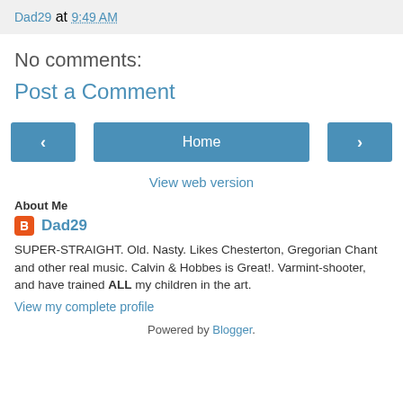Dad29 at 9:49 AM
No comments:
Post a Comment
‹  Home  ›  View web version
About Me
Dad29
SUPER-STRAIGHT. Old. Nasty. Likes Chesterton, Gregorian Chant and other real music. Calvin & Hobbes is Great!. Varmint-shooter, and have trained ALL my children in the art.
View my complete profile
Powered by Blogger.